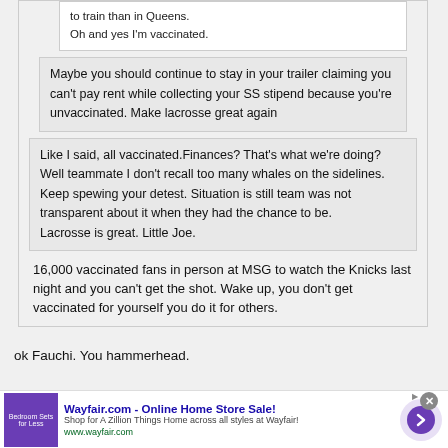to train than in Queens.
Oh and yes I'm vaccinated.
Maybe you should continue to stay in your trailer claiming you can't pay rent while collecting your SS stipend because you're unvaccinated. Make lacrosse great again
Like I said, all vaccinated.Finances? That's what we're doing? Well teammate I don't recall too many whales on the sidelines. Keep spewing your detest. Situation is still team was not transparent about it when they had the chance to be.
Lacrosse is great. Little Joe.
16,000 vaccinated fans in person at MSG to watch the Knicks last night and you can't get the shot. Wake up, you don't get vaccinated for yourself you do it for others.
ok Fauchi. You hammerhead.
[Figure (screenshot): Wayfair.com advertisement banner with purple bedroom furniture image, ad title 'Wayfair.com - Online Home Store Sale!', description text, URL, and a purple arrow button]